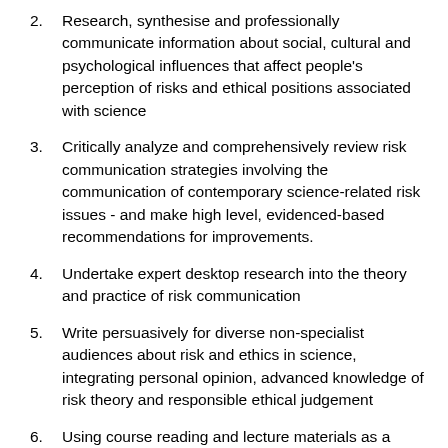2. Research, synthesise and professionally communicate information about social, cultural and psychological influences that affect people's perception of risks and ethical positions associated with science
3. Critically analyze and comprehensively review risk communication strategies involving the communication of contemporary science-related risk issues - and make high level, evidenced-based recommendations for improvements.
4. Undertake expert desktop research into the theory and practice of risk communication
5. Write persuasively for diverse non-specialist audiences about risk and ethics in science, integrating personal opinion, advanced knowledge of risk theory and responsible ethical judgement
6. Using course reading and lecture materials as a catalyst, but integrating knowledge of published